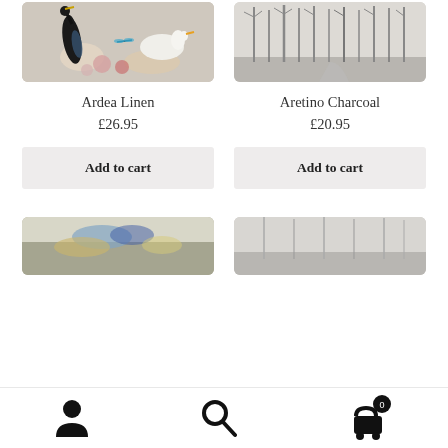[Figure (photo): Ardea Linen product image showing decorative fabric with herons, swans, and flowers on a light background]
[Figure (photo): Aretino Charcoal product image showing sketchy trees in a forest on light grey background]
Ardea Linen
£26.95
Add to cart
Aretino Charcoal
£20.95
Add to cart
[Figure (photo): Bottom-row left product image showing landscape with blue and gold tones]
[Figure (photo): Bottom-row right product image showing misty winter landscape with bare trees]
[Figure (infographic): Bottom navigation bar with person icon, search icon, and shopping cart icon with badge showing 0]